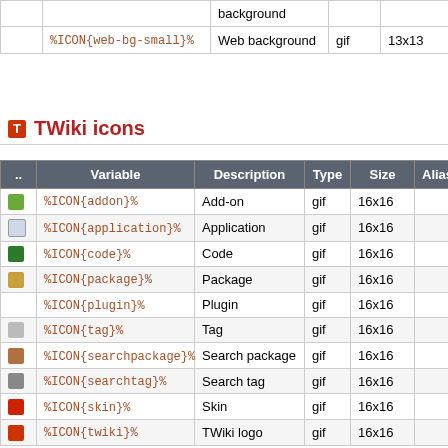|  | Variable | Description | Type | Size | Alias |
| --- | --- | --- | --- | --- | --- |
|  |  | background |  |  |  |
|  | %ICON{web-bg-small}% | Web background | gif | 13x13 |  |
TWiki icons
| .. | Variable | Description | Type | Size | Alias |
| --- | --- | --- | --- | --- | --- |
| [icon] | %ICON{addon}% | Add-on | gif | 16x16 |  |
| [icon] | %ICON{application}% | Application | gif | 16x16 |  |
| [icon] | %ICON{code}% | Code | gif | 16x16 |  |
| [icon] | %ICON{package}% | Package | gif | 16x16 |  |
|  | %ICON{plugin}% | Plugin | gif | 16x16 |  |
| [icon] | %ICON{tag}% | Tag | gif | 16x16 |  |
| [icon] | %ICON{searchpackage}% | Search package | gif | 16x16 |  |
| [icon] | %ICON{searchtag}% | Search tag | gif | 16x16 |  |
| [icon] | %ICON{skin}% | Skin | gif | 16x16 |  |
| [icon] | %ICON{twiki}% | TWiki logo | gif | 16x16 |  |